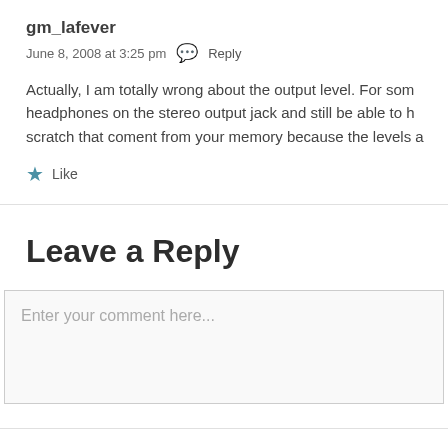gm_lafever
June 8, 2008 at 3:25 pm  Reply
Actually, I am totally wrong about the output level. For som headphones on the stereo output jack and still be able to h scratch that coment from your memory because the levels a
Like
Leave a Reply
Enter your comment here...
PREVIOUS POST
Musikmesse Update: Macbeth